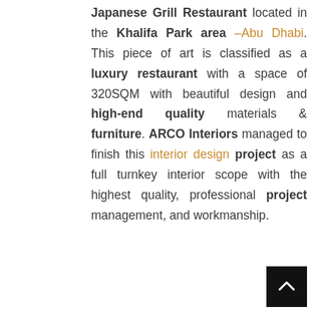Japanese Grill Restaurant located in the Khalifa Park area –Abu Dhabi. This piece of art is classified as a luxury restaurant with a space of 320SQM with beautiful design and high-end quality materials & furniture. ARCO Interiors managed to finish this interior design project as a full turnkey interior scope with the highest quality, professional project management, and workmanship.
[Figure (other): Black square button with white upward-pointing chevron arrow (scroll-to-top button), positioned at bottom-right corner]